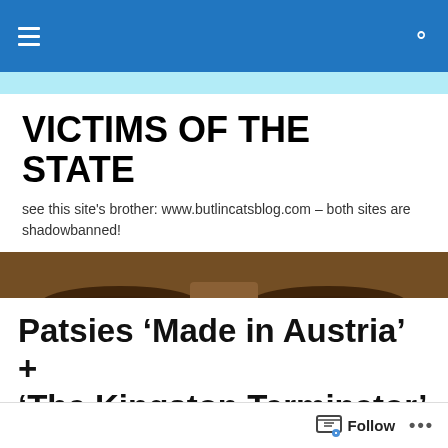VICTIMS OF THE STATE
see this site's brother: www.butlincatsblog.com – both sites are shadowbanned!
[Figure (photo): Close-up photograph of a person's eyes with a dark, intense gaze against a blurred background]
Patsies 'Made in Austria' + 'The Kingston Terminator' by Dr. Rainer Hermann Kurz